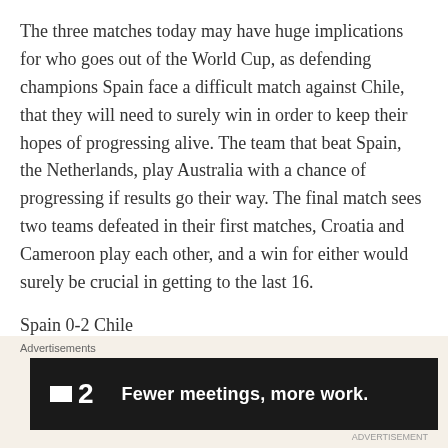The three matches today may have huge implications for who goes out of the World Cup, as defending champions Spain face a difficult match against Chile, that they will need to surely win in order to keep their hopes of progressing alive. The team that beat Spain, the Netherlands, play Australia with a chance of progressing if results go their way. The final match sees two teams defeated in their first matches, Croatia and Cameroon play each other, and a win for either would surely be crucial in getting to the last 16.
Spain 0-2 Chile
[Figure (other): Advertisement banner: F2 logo with tagline 'Fewer meetings, more work.' on dark background]